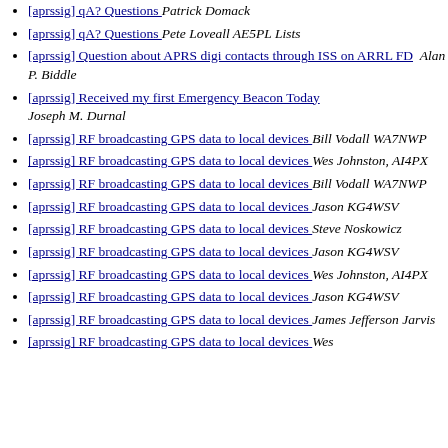[aprssig] qA? Questions  Patrick Domack
[aprssig] qA? Questions  Pete Loveall AE5PL Lists
[aprssig] Question about APRS digi contacts through ISS on ARRL FD  Alan P. Biddle
[aprssig] Received my first Emergency Beacon Today  Joseph M. Durnal
[aprssig] RF broadcasting GPS data to local devices  Bill Vodall WA7NWP
[aprssig] RF broadcasting GPS data to local devices  Wes Johnston, AI4PX
[aprssig] RF broadcasting GPS data to local devices  Bill Vodall WA7NWP
[aprssig] RF broadcasting GPS data to local devices  Jason KG4WSV
[aprssig] RF broadcasting GPS data to local devices  Steve Noskowicz
[aprssig] RF broadcasting GPS data to local devices  Jason KG4WSV
[aprssig] RF broadcasting GPS data to local devices  Wes Johnston, AI4PX
[aprssig] RF broadcasting GPS data to local devices  Jason KG4WSV
[aprssig] RF broadcasting GPS data to local devices  James Jefferson Jarvis
[aprssig] RF broadcasting GPS data to local devices  Wes